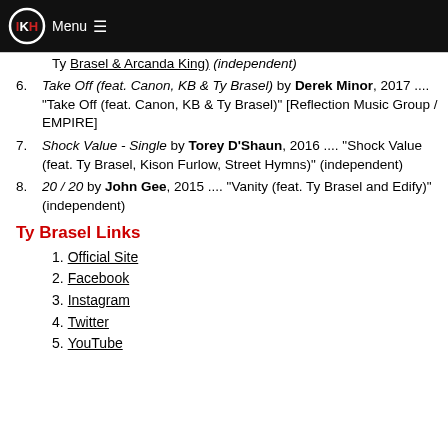Menu
Ty Brasel & Arcanda King) (independent)
Take Off (feat. Canon, KB & Ty Brasel) by Derek Minor, 2017 .... "Take Off (feat. Canon, KB & Ty Brasel)" [Reflection Music Group / EMPIRE]
Shock Value - Single by Torey D'Shaun, 2016 .... "Shock Value (feat. Ty Brasel, Kison Furlow, Street Hymns)" (independent)
20 / 20 by John Gee, 2015 .... "Vanity (feat. Ty Brasel and Edify)" (independent)
Ty Brasel Links
Official Site
Facebook
Instagram
Twitter
YouTube